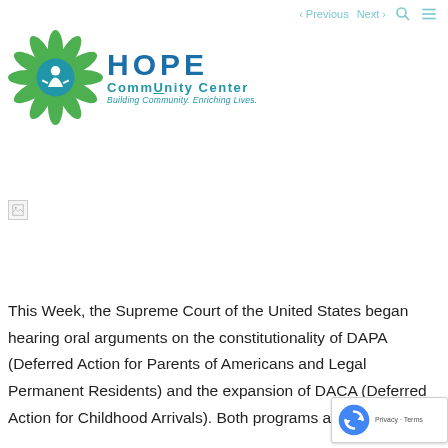Previous  Next  [search icon] [menu icon]
[Figure (logo): HOPE CommUnity Center logo — green sunflower with blue person icon, text reads HOPE CommUnity Center, Building Community. Enriching Lives.]
[Figure (photo): Broken image placeholder (white box with broken image icon)]
This Week, the Supreme Court of the United States began hearing oral arguments on the constitutionality of DAPA (Deferred Action for Parents of Americans and Legal Permanent Residents) and the expansion of DACA (Deferred Action for Childhood Arrivals). Both programs are